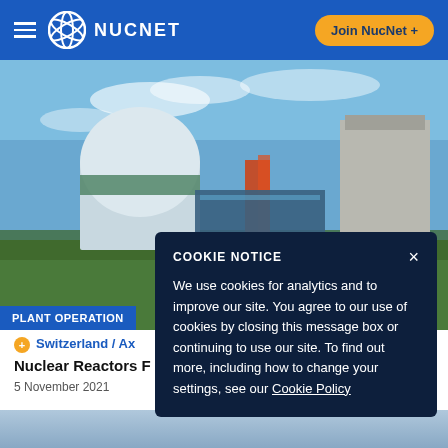NUCNET
[Figure (photo): Nuclear power plant with dome reactor building and cooling tower against blue sky]
PLANT OPERATION
+ Switzerland / Ax... Nuclear Reactors F...
5 November 2021
COOKIE NOTICE
We use cookies for analytics and to improve our site. You agree to our use of cookies by closing this message box or continuing to use our site. To find out more, including how to change your settings, see our Cookie Policy